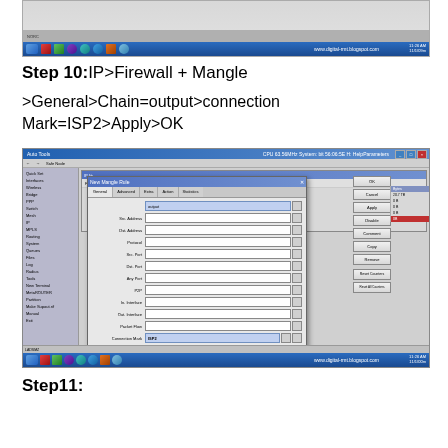[Figure (screenshot): Windows desktop screenshot showing MikroTik Winbox application - top portion visible with taskbar]
Step 10:IP>Firewall + Mangle
>General>Chain=output>connection Mark=ISP2>Apply>OK
[Figure (screenshot): Windows desktop screenshot showing MikroTik Winbox firewall mangle rule configuration dialog with New Mangle Rule window open, Connection Mark field set to ISP2]
Step11: